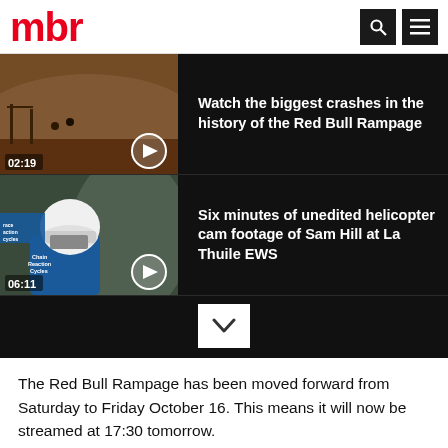mbr
[Figure (screenshot): Video thumbnail showing Red Bull Rampage crash footage, dirt hillside, duration 02:19]
Watch the biggest crashes in the history of the Red Bull Rampage
[Figure (screenshot): Video thumbnail showing Sam Hill in helmet and Chain Reaction Cycles kit, duration 06:11]
Six minutes of unedited helicopter cam footage of Sam Hill at La Thuile EWS
The Red Bull Rampage has been moved forward from Saturday to Friday October 16. This means it will now be streamed at 17:30 tomorrow.
Due to forecasted heavy rains and thunderstorms, the